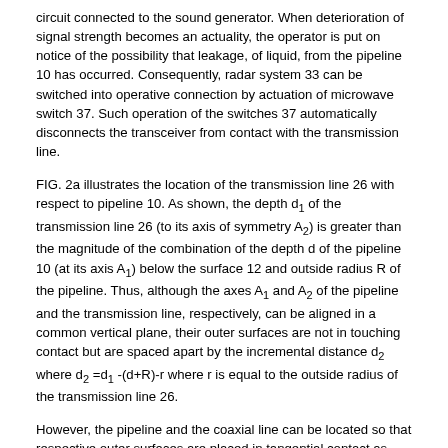circuit connected to the sound generator. When deterioration of signal strength becomes an actuality, the operator is put on notice of the possibility that leakage, of liquid, from the pipeline 10 has occurred. Consequently, radar system 33 can be switched into operative connection by actuation of microwave switch 37. Such operation of the switches 37 automatically disconnects the transceiver from contact with the transmission line.
FIG. 2a illustrates the location of the transmission line 26 with respect to pipeline 10. As shown, the depth d1 of the transmission line 26 (to its axis of symmetry A2) is greater than the magnitude of the combination of the depth d of the pipeline 10 (at its axis A1) below the surface 12 and outside radius R of the pipeline. Thus, although the axes A1 and A2 of the pipeline and the transmission line, respectively, can be aligned in a common vertical plane, their outer surfaces are not in touching contact but are spaced apart by the incremental distance d2 where d2 =d1 -(d+R)-r where r is equal to the outside radius of the transmission line 26.
However, the pipeline and the coaxial line can be located so that respective outer surfaces are placed in tangential contact as shown in FIG. 2b . In usual applications, the trench 11 is backfilled with soil of the original formation which, when compacted, may be rather impermeable. Thus, by placing the transmission line 26' at a distance d1 ' below surface 12 (as measured from its axis of symmetry A2') so that its outer surface is in